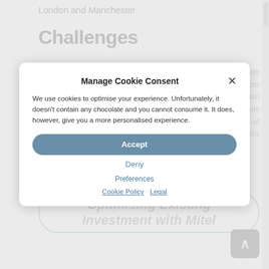London and Manchester.
Challenges
Consolidation of the PSTN estate — the existing fixed line estate was spread across multiple providers, so Arrow moved all services to a single platform — 350 Attention SIP trunks, SIP connection with Gamma. Design of a 4 digit number range across the whole estate whilst matching extension numbers with the last 4 digits of the DDI's. Extension numbers were matched with the 1800 DDI's that ABP owned.
Optimising Existing Investment with Mitel
Manage Cookie Consent
We use cookies to optimise your experience. Unfortunately, it doesn't contain any chocolate and you cannot consume it. It does, however, give you a more personalised experience.
Accept
Deny
Preferences
Cookie Policy  Legal